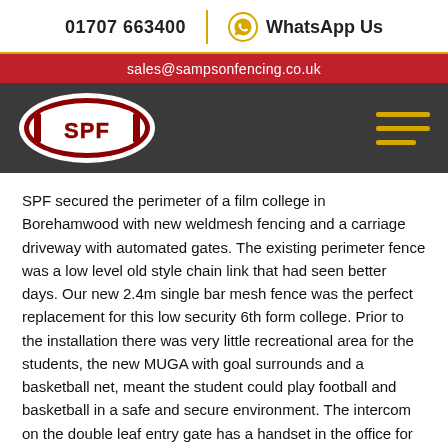01707 663400  |  WhatsApp Us
sales@sampsonfencing.co.uk
[Figure (logo): SPF (Sampson Perimeter Fencing) oval logo with red and white design on dark navigation bar, with hamburger menu icon in gold on the right]
SPF secured the perimeter of a film college in Borehamwood with new weldmesh fencing and a carriage driveway with automated gates. The existing perimeter fence was a low level old style chain link that had seen better days. Our new 2.4m single bar mesh fence was the perfect replacement for this low security 6th form college. Prior to the installation there was very little recreational area for the students, the new MUGA with goal surrounds and a basketball net, meant the student could play football and basketball in a safe and secure environment. The intercom on the double leaf entry gate has a handset in the office for entry whist the carriage driveway ensured a flow of traffic through the exit gate via its free exit loops under